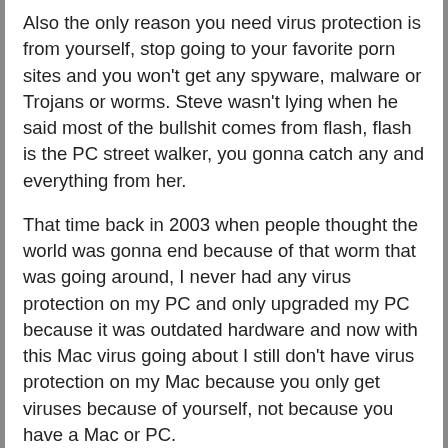Also the only reason you need virus protection is from yourself, stop going to your favorite porn sites and you won't get any spyware, malware or Trojans or worms. Steve wasn't lying when he said most of the bullshit comes from flash, flash is the PC street walker, you gonna catch any and everything from her.
That time back in 2003 when people thought the world was gonna end because of that worm that was going around, I never had any virus protection on my PC and only upgraded my PC because it was outdated hardware and now with this Mac virus going about I still don't have virus protection on my Mac because you only get viruses because of yourself, not because you have a Mac or PC.
Let's be real, the little list you've compiled here is minuscule to that if we were to make a PC list.
With either Norton or Windows purposely giving users